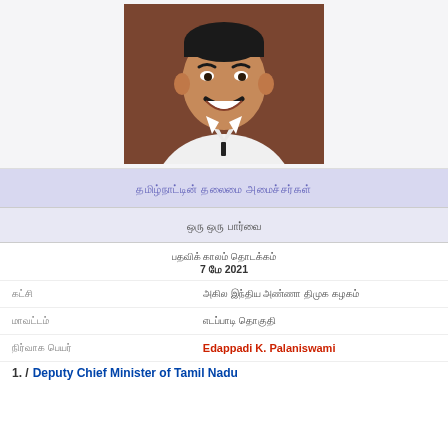[Figure (photo): Portrait photo of a smiling middle-aged man with a mustache, wearing a white shirt, brown background]
தமிழ்நாட்டின் தலைமை அமைச்சர்கள்
ஒரு ஒரு பார்வை
பதவிக் காலம் தொடக்கம்
7 மே 2021
கட்சியின்     அகில இந்திய அண்ணா திமுக கழகம்
மாவட்டம்     எடப்பாடி தொகுதி
நிர்வாக பெயர்     Edappadi K. Palaniswami
1. / Deputy Chief Minister of Tamil Nadu